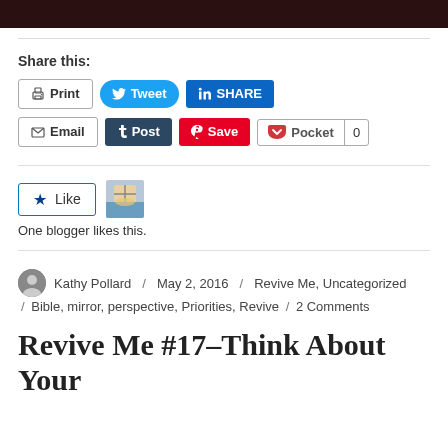[Figure (photo): Dark image cropped at top of page]
Share this:
Print | Tweet | SHARE | Email | Post | Save | Pocket 0
[Figure (photo): Cross/church image thumbnail next to Like button]
One blogger likes this.
Kathy Pollard / May 2, 2016 / Revive Me, Uncategorized / Bible, mirror, perspective, Priorities, Revive / 2 Comments
Revive Me #17–Think About Your